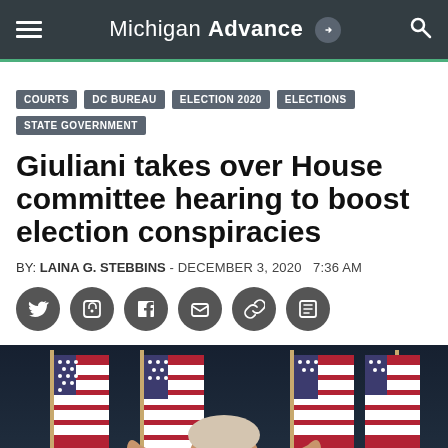Michigan Advance
COURTS
DC BUREAU
ELECTION 2020
ELECTIONS
STATE GOVERNMENT
Giuliani takes over House committee hearing to boost election conspiracies
BY: LAINA G. STEBBINS - DECEMBER 3, 2020  7:36 AM
[Figure (photo): Man with arms raised laughing in front of multiple American flags at a press conference]